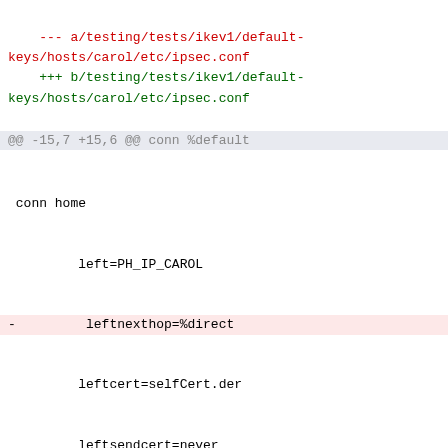--- a/testing/tests/ikev1/default-keys/hosts/carol/etc/ipsec.conf
+++ b/testing/tests/ikev1/default-keys/hosts/carol/etc/ipsec.conf
@@ -15,7 +15,6 @@ conn %default
conn home
         left=PH_IP_CAROL
-         leftnexthop=%direct
         leftcert=selfCert.der
         leftsendcert=never
         leftfirewall=yes
diff --git a/testing/tests/ikev1/default-keys/hosts/moon/etc/ipsec.conf b/testing/tests/ikev1/default-keys/hosts/moon/etc/ipsec.conf
index ed1b405..ce7afba 100755 (executable)
--- a/testing/tests/ikev1/default-keys/hosts/moon/etc/ipsec.conf
+++ b/testing/tests/ikev1/default-keys/hosts/moon/etc/ipsec.conf